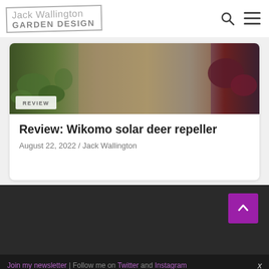[Figure (logo): Jack Wallington Garden Design logo with border]
[Figure (photo): Garden bed photo showing plants and soil with a REVIEW badge overlay]
Review: Wikomo solar deer repeller
August 22, 2022 / Jack Wallington
Join my newsletter | Follow me on Twitter and Instagram